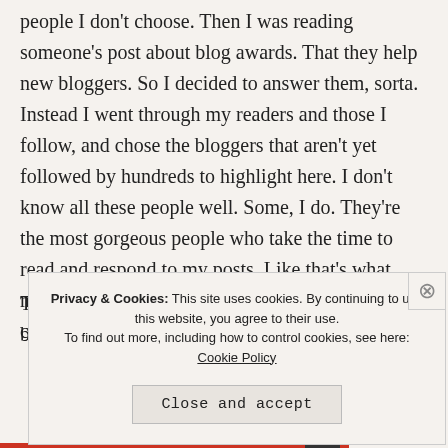people I don't choose. Then I was reading someone's post about blog awards. That they help new bloggers. So I decided to answer them, sorta. Instead I went through my readers and those I follow, and chose the bloggers that aren't yet followed by hundreds to highlight here. I don't know all these people well. Some, I do. They're the most gorgeous people who take the time to read and respond to my posts. Like that's what makes them gorgeous :). They're inspirational and calming.
Privacy & Cookies: This site uses cookies. By continuing to use this website, you agree to their use. To find out more, including how to control cookies, see here: Cookie Policy
Close and accept